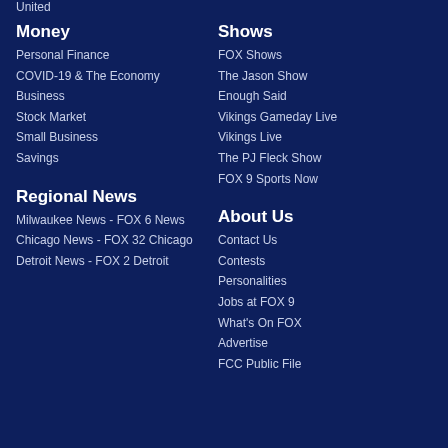United
Money
Personal Finance
COVID-19 & The Economy
Business
Stock Market
Small Business
Savings
Shows
FOX Shows
The Jason Show
Enough Said
Vikings Gameday Live
Vikings Live
The PJ Fleck Show
FOX 9 Sports Now
Regional News
Milwaukee News - FOX 6 News
Chicago News - FOX 32 Chicago
Detroit News - FOX 2 Detroit
About Us
Contact Us
Contests
Personalities
Jobs at FOX 9
What's On FOX
Advertise
FCC Public File